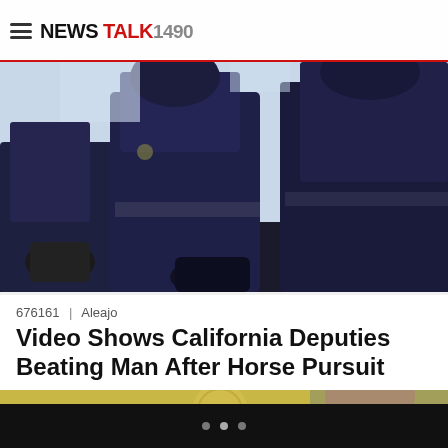NEWS TALK 1490
[Figure (photo): Police/law enforcement officers in dark uniforms seen from below, one holding what appears to be a baton or weapon, dramatic low-angle shot]
676161 | Aleajo
Video Shows California Deputies Beating Man After Horse Pursuit
Video captured of a group of San Bernardino sheriff's deputies kicking and punching a suspect who led the police on a chase while on horseback…
[Figure (photo): Partial view of a person's face with a yellow/gold badge or logo visible in the background]